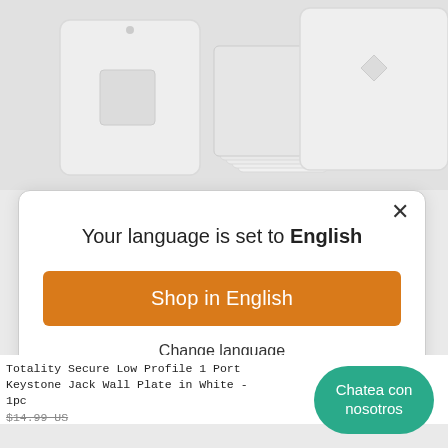[Figure (screenshot): Product photo background showing white wall plates and keystone jack wall plates on a light gray background]
×
Your language is set to English
Shop in English
Change language
Totality Secure Low Profile 1 Port Keystone Jack Wall Plate in White - 1pc
$14.99 US
Chatea con nosotros